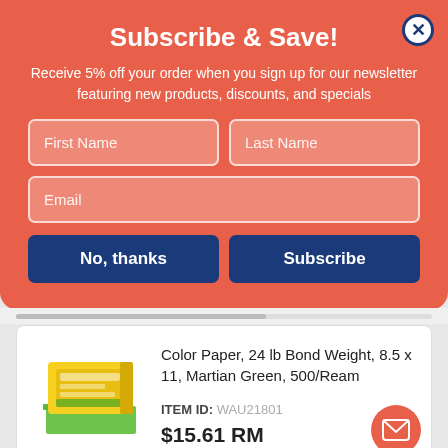Subscribe & Save!
Receive 5% off your order when you sign up for our newsletter featuring new products, discounts, and specials
First Name | Last Name | Email (form fields)
No, thanks | Subscribe (buttons)
[Figure (photo): Product image of Color Paper ream in yellow box with green paper visible]
Color Paper, 24 lb Bond Weight, 8.5 x 11, Martian Green, 500/Ream
ITEM ID: WAU21801
$15.61 RM